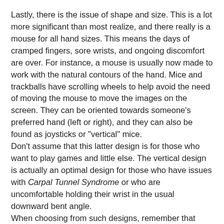Lastly, there is the issue of shape and size. This is a lot more significant than most realize, and there really is a mouse for all hand sizes. This means the days of cramped fingers, sore wrists, and ongoing discomfort are over. For instance, a mouse is usually now made to work with the natural contours of the hand. Mice and trackballs have scrolling wheels to help avoid the need of moving the mouse to move the images on the screen. They can be oriented towards someone's preferred hand (left or right), and they can also be found as joysticks or "vertical" mice.
Don't assume that this latter design is for those who want to play games and little else. The vertical design is actually an optimal design for those who have issues with Carpal Tunnel Syndrome or who are uncomfortable holding their wrist in the usual downward bent angle.
When choosing from such designs, remember that they help cut down on the need for arm movement and can even be used only with the fingers. This can be very helpful for those with a limited range of movement or who need to avoid repetitive movements due to injury.
Pricing
You can expect to pay as little as $20 for a good mouse or trackball, but there are also many styles that are priced at